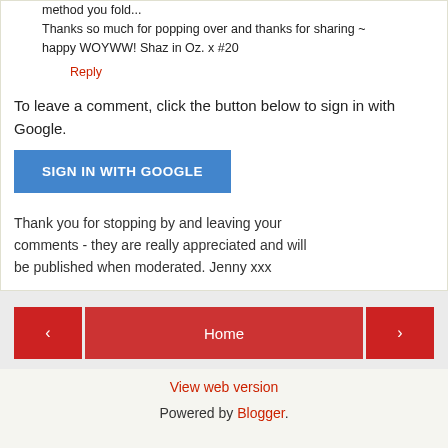method you fold...
Thanks so much for popping over and thanks for sharing ~ happy WOYWW! Shaz in Oz. x #20
Reply
To leave a comment, click the button below to sign in with Google.
[Figure (other): Blue button labeled SIGN IN WITH GOOGLE]
Thank you for stopping by and leaving your comments - they are really appreciated and will be published when moderated. Jenny xxx
[Figure (other): Navigation bar with left arrow (red), Home (red center), right arrow (red)]
View web version
Powered by Blogger.